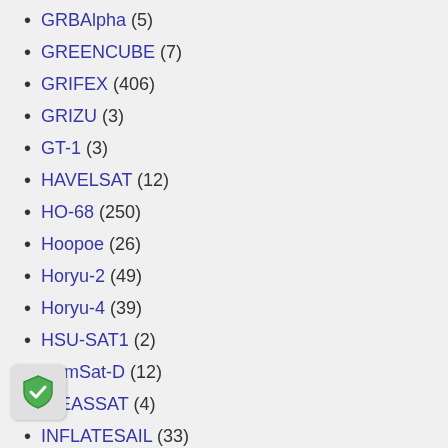GRBAlpha (5)
GREENCUBE (7)
GRIFEX (406)
GRIZU (3)
GT-1 (3)
HAVELSAT (12)
HO-68 (250)
Hoopoe (26)
Horyu-2 (49)
Horyu-4 (39)
HSU-SAT1 (2)
HumSat-D (12)
IDEASSAT (4)
INFLATESAIL (33)
INNOSAT (19)
INSPIRE (35)
INSPIRESAT-1 (3)
INVADER (111)
IO-26 (163)
IPEX (82)
Irazu (61)
IRIS (2)